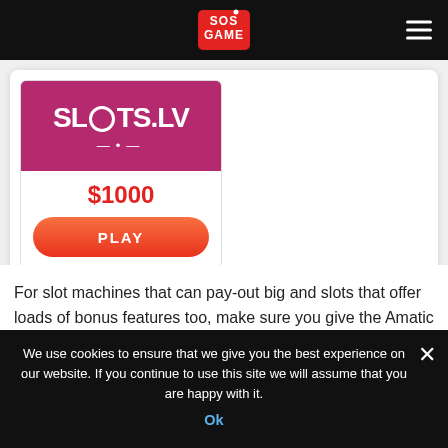[Figure (logo): SOS Game logo in red box with white text, top navigation bar on black background with hamburger menu icon]
[Figure (logo): Slots.LV casino card with magenta logo background, $1000 bonus amount in red, and orange PLAY button]
For slot machines that can pay-out big and slots that offer loads of bonus features too, make sure you give the Amatic range of slots a try including their Hot 40 slot.
Hot 40 Slot Game Review
We use cookies to ensure that we give you the best experience on our website. If you continue to use this site we will assume that you are happy with it.
Ok